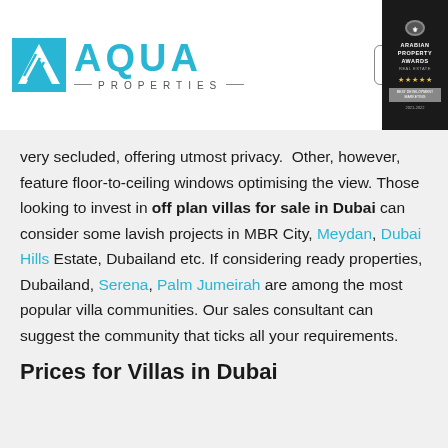[Figure (logo): Aqua Properties logo with cyan square icon, AQUA text, and PROPERTIES subtitle, plus navigation menu button and Arabian Property Awards badge]
very secluded, offering utmost privacy.  Other, however, feature floor-to-ceiling windows optimising the view. Those looking to invest in off plan villas for sale in Dubai can consider some lavish projects in MBR City, Meydan, Dubai Hills Estate, Dubailand etc. If considering ready properties, Dubailand, Serena, Palm Jumeirah are among the most popular villa communities. Our sales consultant can suggest the community that ticks all your requirements.
Prices for Villas in Dubai